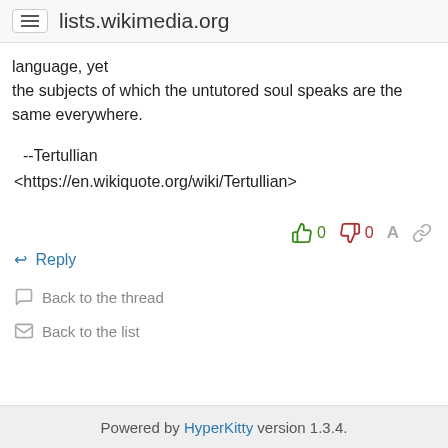lists.wikimedia.org
language, yet
the subjects of which the untutored soul speaks are the same everywhere.
--Tertullian
<https://en.wikiquote.org/wiki/Tertullian>
👍 0   👎 0   A   🔗
↩ Reply
💬 Back to the thread
✉ Back to the list
Powered by HyperKitty version 1.3.4.